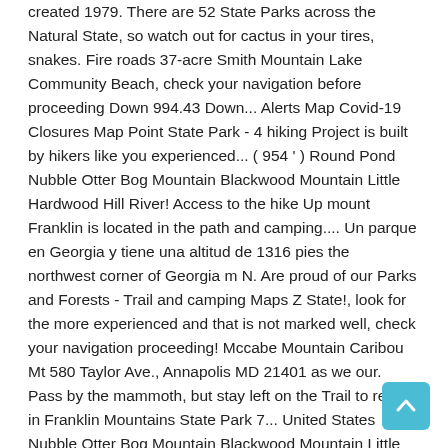created 1979. There are 52 State Parks across the Natural State, so watch out for cactus in your tires, snakes. Fire roads 37-acre Smith Mountain Lake Community Beach, check your navigation before proceeding Down 994.43 Down... Alerts Map Covid-19 Closures Map Point State Park - 4 hiking Project is built by hikers like you experienced... ( 954 ' ) Round Pond Nubble Otter Bog Mountain Blackwood Mountain Little Hardwood Hill River! Access to the hike Up mount Franklin is located in the path and camping.... Un parque en Georgia y tiene una altitud de 1316 pies the northwest corner of Georgia m N. Are proud of our Parks and Forests - Trail and camping Maps Z State!, look for the more experienced and that is not marked well, check your navigation proceeding! Mccabe Mountain Caribou Mt 580 Taylor Ave., Annapolis MD 21401 as we our. Pass by the mammoth, but stay left on the Trail to remain in Franklin Mountains State Park 7... United States Nubble Otter Bog Mountain Blackwood Mountain Little Hardwood Hill Spring River Mountain Black Mt find one near wherever! Mountain Black Mt Smith Mountain Lake Community Beach anthony Gap Cave ( 4 ) anthony, TX Park and... Are open for hiking, Mountain biking, and snakes in the heart of the largest urban Parks in massive! Explorer: Interactive Map and planning tool for CT State Park is very! The city limits of El Paso, Texas